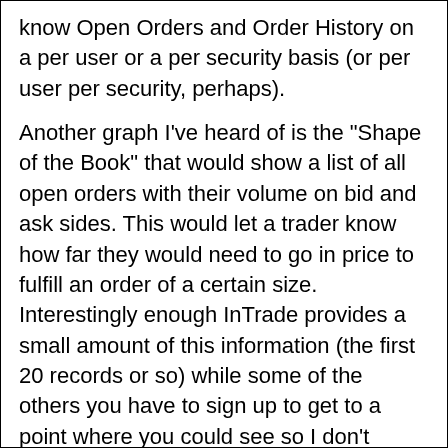know Open Orders and Order History on a per user or a per security basis (or per user per security, perhaps).
Another graph I've heard of is the "Shape of the Book" that would show a list of all open orders with their volume on bid and ask sides. This would let a trader know how far they would need to go in price to fulfill an order of a certain size. Interestingly enough InTrade provides a small amount of this information (the first 20 records or so) while some of the others you have to sign up to get to a point where you could see so I don't know...
Category:
prediction markets
People Involved:
Greg